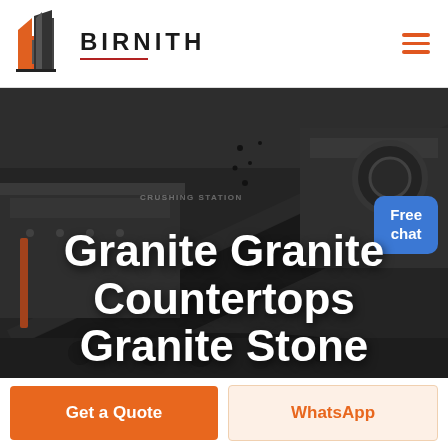[Figure (logo): Birnith company logo: orange and dark grey building/construction icon with red underline]
BIRNITH
[Figure (photo): Dark industrial mining/crushing station machinery with coal/rock aggregate, diagonal conveyor belt visible. Text 'CRUSHING STATION' on machinery.]
Granite Granite Countertops Granite Stone
[Figure (infographic): Blue chat bubble button with text 'Free chat' and customer service representative figure]
Get a Quote
WhatsApp